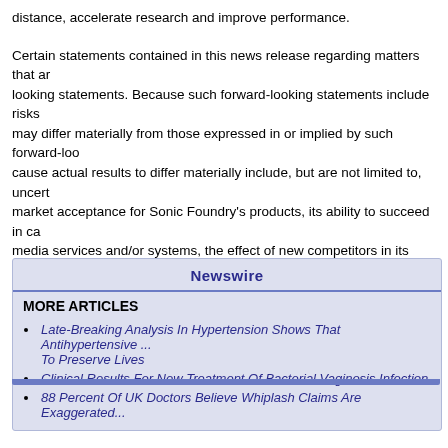distance, accelerate research and improve performance.
Certain statements contained in this news release regarding matters that are not historical facts are forward-looking statements. Because such forward-looking statements include risks and uncertainties, actual results may differ materially from those expressed in or implied by such forward-looking statements. Factors that could cause actual results to differ materially include, but are not limited to, uncertainty as to the level of market acceptance for Sonic Foundry's products, its ability to succeed in capturing a leading share of the media services and/or systems, the effect of new competitors in its market, and other risk factors identified from time to time in its filings with the Securities ...
Tammy Kramer, +1-608-237-8592, tammyk@sonicfoundry.com, for Sonic Fo...
Newswire
MORE ARTICLES
Late-Breaking Analysis In Hypertension Shows That Antihypertensive ... To Preserve Lives
Clinical Results For New Treatment Of Bacterial Vaginosis Infection
88 Percent Of UK Doctors Believe Whiplash Claims Are Exaggerated...